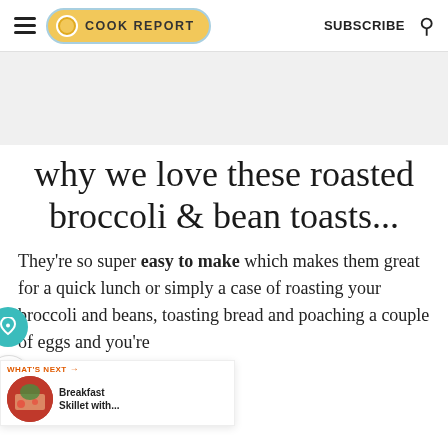THE COOK REPORT | SUBSCRIBE
[Figure (other): Advertisement banner placeholder, light gray background]
why we love these roasted broccoli & bean toasts...
They're so super easy to make which makes them great for a quick lunch or simply a case of roasting your broccoli and beans, toasting bread and poaching a couple of eggs and you're